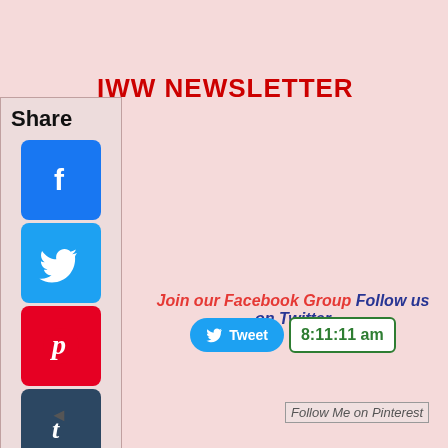IWW NEWSLETTER
[Figure (infographic): Social media share panel with Share label and icons for Facebook, Twitter, Pinterest, Tumblr, Reddit, WhatsApp]
Join our Facebook Group Follow us on Twitter
[Figure (infographic): Tweet button and time display showing 8:11:11 am]
◄
[Figure (infographic): Follow Me on Pinterest image link]